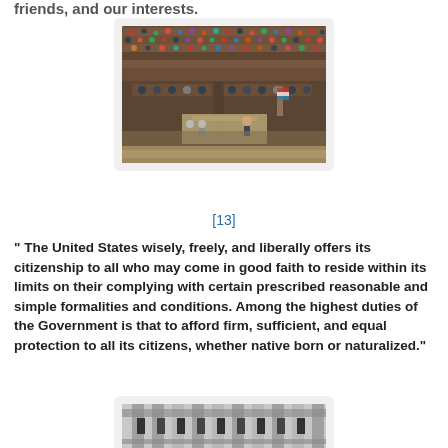friends, and our interests.
[Figure (photo): Overhead view of a crowded U.S. Congress chamber session with many people seated in a large ornate hall]
[13]
" The United States wisely, freely, and liberally offers its citizenship to all who may come in good faith to reside within its limits on their complying with certain prescribed reasonable and simple formalities and conditions. Among the highest duties of the Government is that to afford firm, sufficient, and equal protection to all its citizens, whether native born or naturalized."
[Figure (photo): Black and white photograph of a building facade, partially visible at the bottom of the page]